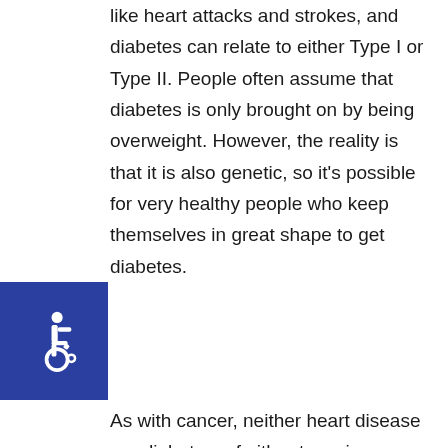like heart attacks and strokes, and diabetes can relate to either Type I or Type II. People often assume that diabetes is only brought on by being overweight. However, the reality is that it is also genetic, so it's possible for very healthy people who keep themselves in great shape to get diabetes.
[Figure (logo): Wheelchair accessibility icon — white wheelchair symbol on blue square background]
As with cancer, neither heart disease nor diabetes, of either type, is automatically a disability. Since these six main areas impact people differently, you definitely need to know what legal steps you need to take if you want to show that your case should count as a disability...